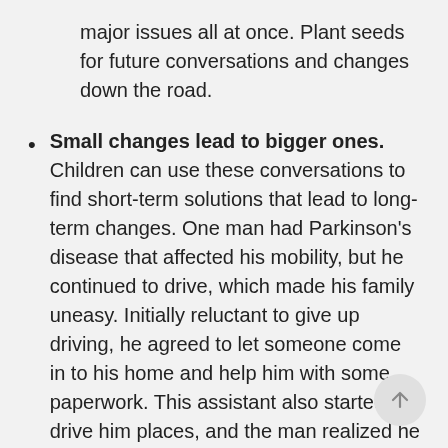major issues all at once. Plant seeds for future conversations and changes down the road.
Small changes lead to bigger ones. Children can use these conversations to find short-term solutions that lead to long-term changes. One man had Parkinson's disease that affected his mobility, but he continued to drive, which made his family uneasy. Initially reluctant to give up driving, he agreed to let someone come in to his home and help him with some paperwork. This assistant also started to drive him places, and the man realized he could give up